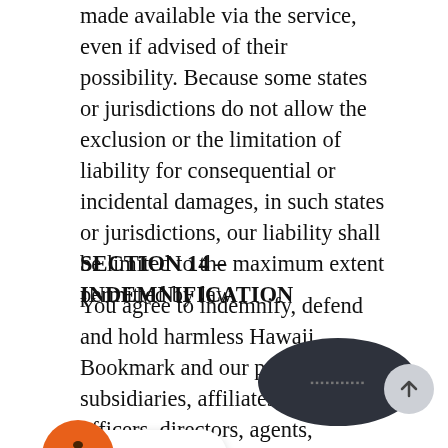made available via the service, even if advised of their possibility. Because some states or jurisdictions do not allow the exclusion or the limitation of liability for consequential or incidental damages, in such states or jurisdictions, our liability shall be limited to the maximum extent permitted by law.
SECTION 14 – INDEMNIFICATION
You agree to indemnify, defend and hold harmless Hawaii Bookmark and our parent, subsidiaries, affiliates, partners, officers, directors, agents, contractors, licensors, service providers, subcontractors, suppliers, interns, and employees, harmless from any claim or demand, including reasonable attorneys' fees, made by any third-party due to or arising out of your breach of these Terms of Service or the documents they incorporate by reference or